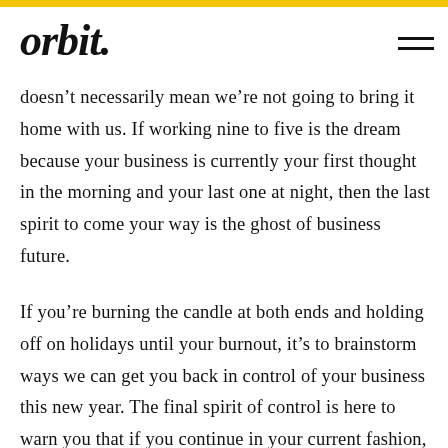orbit.
doesn’t necessarily mean we’re not going to bring it home with us. If working nine to five is the dream because your business is currently your first thought in the morning and your last one at night, then the last spirit to come your way is the ghost of business future.
If you’re burning the candle at both ends and holding off on holidays until your burnout, it’s to brainstorm ways we can get you back in control of your business this new year. The final spirit of control is here to warn you that if you continue in your current fashion, next year will be 2021 V2 with your